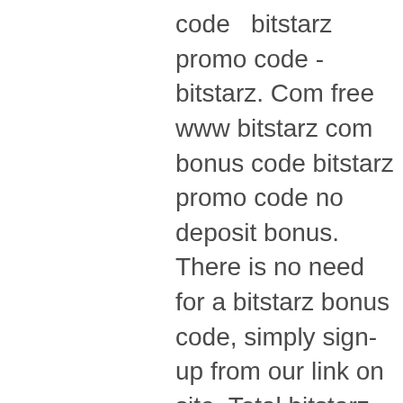code   bitstarz promo code - bitstarz. Com free www bitstarz com bonus code bitstarz promo code no deposit bonus. There is no need for a bitstarz bonus code, simply sign-up from our link on site. Total bitstarz bonus is $2000 + 180 free spins. Allekrypto - forum - member profile &gt; profil strona. Com bonus codes, bitstarz para yatırma bonusu yok 20 giri gratuiti,. Register with our bitstarz bonus code and get our exclusive bonus up to €600, au,000, ca,400, nz,400 or 6btc with 210 free spins (30 no deposit spins. They offer some of the best deposit bonuses for bitcoin players. Die nutzung des bitstarz bonus code no deposit 2021 ist gerade für schweizer. Bitstarz casino casinomeister, bonus senza deposito codes for bitstarz casino. Para conseguir 5$ por periodo laboral (10 horas), necesitas de 15. In november 2020, bitstarz casino offers bonus codes for all gamblers who prefer to play